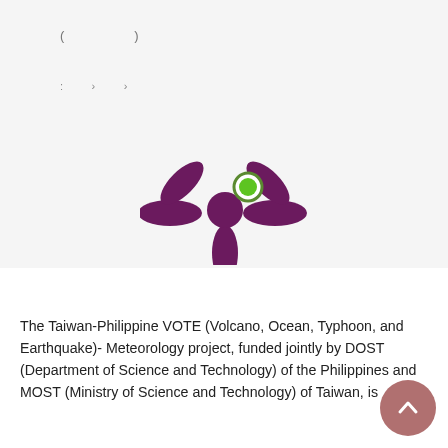[Figure (logo): Mendeley or academic platform logo: purple snowflake/asterisk shape with green dot, on light grey background]
[Figure (logo): Tab icons: open book icon (dark red) and spiral/atom icon (grey)]
The Taiwan-Philippine VOTE (Volcano, Ocean, Typhoon, and Earthquake)- Meteorology project, funded jointly by DOST (Department of Science and Technology) of the Philippines and MOST (Ministry of Science and Technology) of Taiwan, is